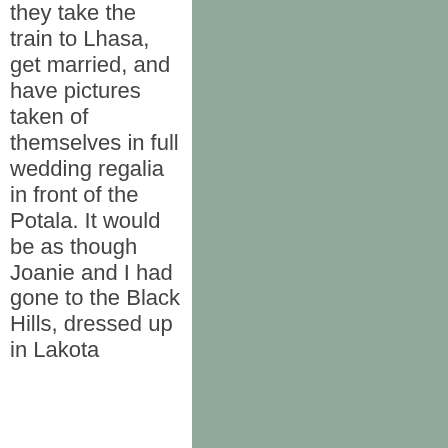they take the train to Lhasa, get married, and have pictures taken of themselves in full wedding regalia in front of the Potala. It would be as though Joanie and I had gone to the Black Hills, dressed up in Lakota